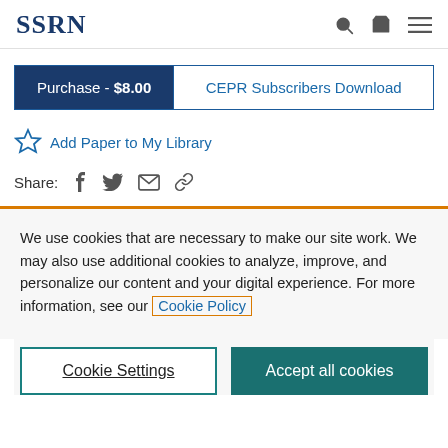SSRN
Purchase - $8.00   CEPR Subscribers Download
Add Paper to My Library
Share:
We use cookies that are necessary to make our site work. We may also use additional cookies to analyze, improve, and personalize our content and your digital experience. For more information, see our Cookie Policy
Cookie Settings   Accept all cookies